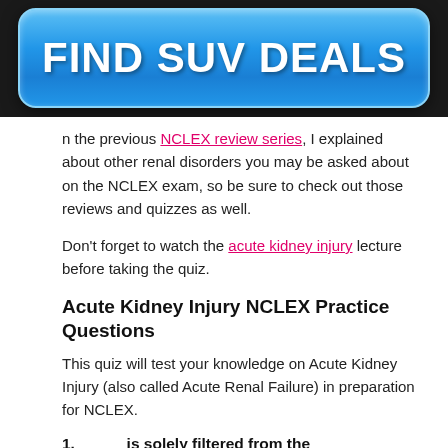[Figure (other): Blue rectangular advertisement banner with rounded corners reading FIND SUV DEALS in large bold white text]
n the previous NCLEX review series, I explained about other renal disorders you may be asked about on the NCLEX exam, so be sure to check out those reviews and quizzes as well.
Don't forget to watch the acute kidney injury lecture before taking the quiz.
Acute Kidney Injury NCLEX Practice Questions
This quiz will test your knowledge on Acute Kidney Injury (also called Acute Renal Failure) in preparation for NCLEX.
1. __________ is solely filtered from the blood to urine in the glomerulus and is NOT